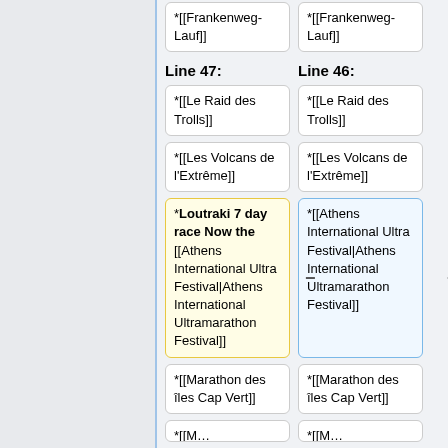*[[Frankenweg-Lauf]]
*[[Frankenweg-Lauf]]
Line 47:
Line 46:
*[[Le Raid des Trolls]]
*[[Le Raid des Trolls]]
*[[Les Volcans de l'Extrême]]
*[[Les Volcans de l'Extrême]]
*Loutraki 7 day race Now the [[Athens International Ultra Festival|Athens International Ultramarathon Festival]]
*[[Athens International Ultra Festival|Athens International Ultramarathon Festival]]
*[[Marathon des îles Cap Vert]]
*[[Marathon des îles Cap Vert]]